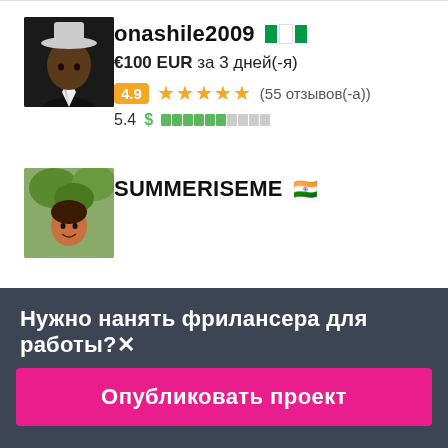[Figure (photo): Profile avatar of onashile2009, person in formal attire on dark background]
onashile2009 🇳🇬
€100 EUR за 3 дней(-я)
4.9 ★★★★★ (55 отзывов(-а))
5.4 $ ▮▮▮▮▮▮░░░░
[Figure (photo): Profile avatar of SUMMERISEME, person outdoors]
SUMMERISEME 🇮🇳
Нужно нанять фрилансера для работы?✕
Опубликовать проект